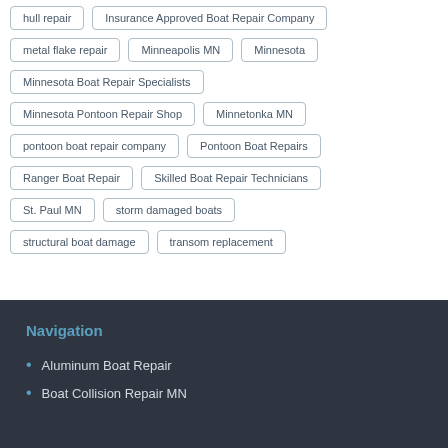hull repair
Insurance Approved Boat Repair Company
metal flake repair
Minneapolis MN
Minnesota
Minnesota Boat Repair Specialists
Minnesota Pontoon Repair Shop
Minnetonka MN
pontoon boat repair company
Pontoon Boat Repairs
Ranger Boat Repair
Skilled Boat Repair Technicians
St. Paul MN
storm damaged boats
structural boat damage
transom replacement
Navigation
Aluminum Boat Repair
Boat Collision Repair MN